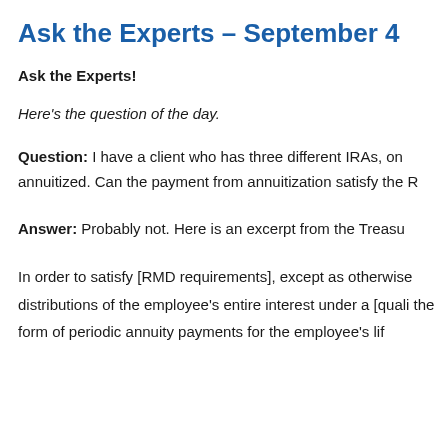Ask the Experts – September 4
Ask the Experts!
Here's the question of the day.
Question:  I have a client who has three different IRAs, on annuitized. Can the payment from annuitization satisfy the R
Answer:   Probably not. Here is an excerpt from the Treasu
In order to satisfy [RMD requirements], except as otherwise distributions of the employee's entire interest under a [quali the form of periodic annuity payments for the employee's lif